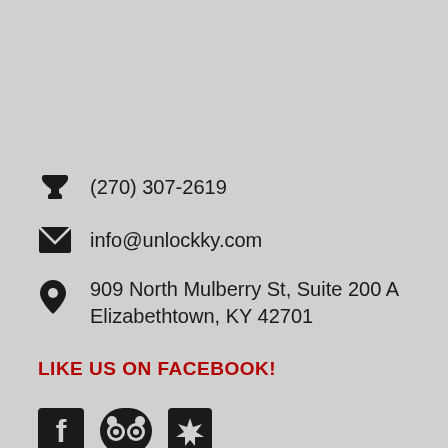(270) 307-2619
info@unlockky.com
909 North Mulberry St, Suite 200 A Elizabethtown, KY 42701
LIKE US ON FACEBOOK!
[Figure (logo): Social media icons: Facebook, TripAdvisor, Yelp]